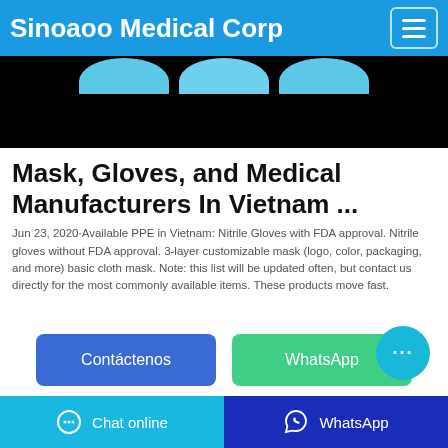Sinoaoo Medical Corp
[Figure (photo): Product image showing blue nitrile gloves against a dark/black background]
Mask, Gloves, and Medical Manufacturers In Vietnam ...
Jun 23, 2020·Available PPE in Vietnam: Nitrile Gloves with FDA approval. Nitrile gloves without FDA approval. 3-layer customizable mask (logo, color, packaging, and more) basic cloth mask. Note: this list will be updated often, but contact us directly for the most commonly available items. These products move fast.
Contáctenos
WhatsApp
Chat online  WhatsApp